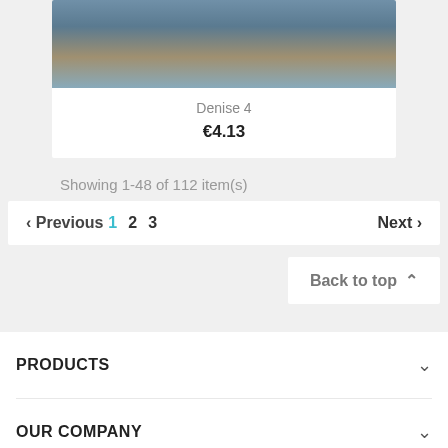[Figure (photo): Product photo of Denise 4 swimwear item, person swimming in water]
Denise 4
€4.13
Showing 1-48 of 112 item(s)
< Previous 1 2 3   Next >
Back to top ∧
PRODUCTS
OUR COMPANY